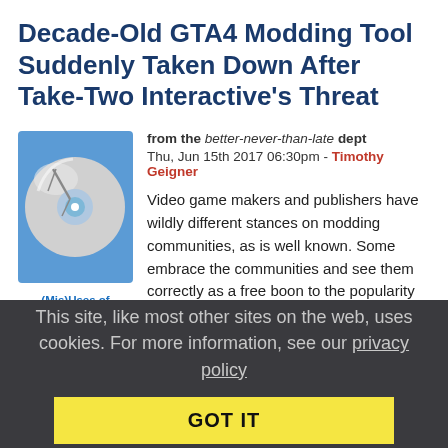Decade-Old GTA4 Modding Tool Suddenly Taken Down After Take-Two Interactive's Threat
from the better-never-than-late dept
Thu, Jun 15th 2017 06:30pm - Timothy Geigner
[Figure (illustration): Broken CD/disc icon illustration with blue tones]
(Mis)Uses of Technology
Video game makers and publishers have wildly different stances on modding communities, as is well known. Some embrace the communities and see them correctly as a free boon to the popularity of their games, while others would rather maintain strict control of the gaming experience by resorting to legal muscle with modders. But there is something strange
This site, like most other sites on the web, uses cookies. For more information, see our privacy policy
GOT IT